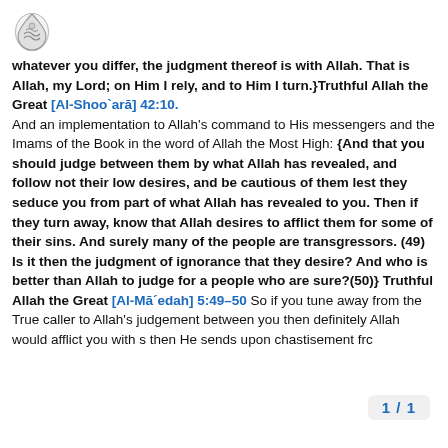whatever you differ, the judgment thereof is with Allah. That is Allah, my Lord; on Him I rely, and to Him I turn.}Truthful Allah the Great [Al-Shoo`arā] 42:10. And an implementation to Allah's command to His messengers and the Imams of the Book in the word of Allah the Most High: {And that you should judge between them by what Allah has revealed, and follow not their low desires, and be cautious of them lest they seduce you from part of what Allah has revealed to you. Then if they turn away, know that Allah desires to afflict them for some of their sins. And surely many of the people are transgressors. (49) Is it then the judgment of ignorance that they desire? And who is better than Allah to judge for a people who are sure?(50)} Truthful Allah the Great [Al-Mā´edah] 5:49-50 So if you tune away from the True caller to Allah's judgement between you then definitely Allah would afflict you with s then He sends upon chastisement frc
1 / 1